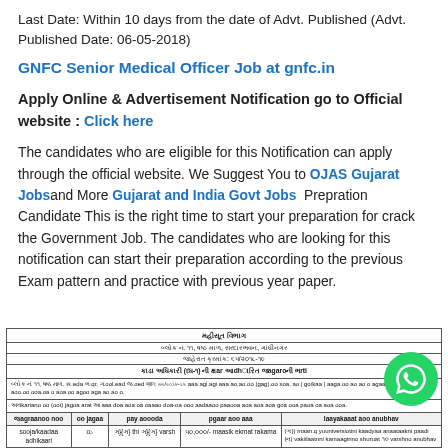Last Date: Within 10 days from the date of Advt. Published (Advt. Published Date: 06-05-2018)
GNFC Senior Medical Officer Job at gnfc.in
Apply Online & Advertisement Notification go to Official website : Click here
The candidates who are eligible for this Notification can apply through the official website. We Suggest You to OJAS Gujarat Jobs and More Gujarat and India Govt Jobs  Prepration Candidate This is the right time to start your preparation for crack the Government Job. The candidates who are looking for this notification can start their preparation according to the previous Exam pattern and practice with previous year paper.
| જગ્યાનું નામ | કુલ જગ્યા | વય મર્યાદા | પગાર અને ભથ્થા | લાયકાત અને અનુભવ |
| --- | --- | --- | --- | --- |
| સોજ/કાડા
અધિકારી | ૦૧ | ૩૫ થી ૩૫ વર્ષ | ૪૦,૦૦૦/- માસિક એક ફિક્ષ રકમ | (૧) માન્ય યુનિવર્સિટીની કાદ્યયા ઓળો
(૨) વ.ઈ.ઈ.ઈ ભ.ઓ.ઈ |